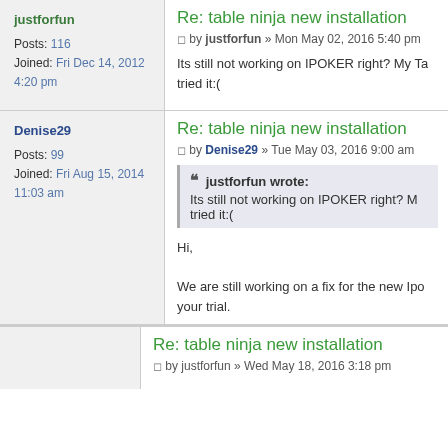Re: table ninja new installation
by justforfun » Mon May 02, 2016 5:40 pm
justforfun
Posts: 116
Joined: Fri Dec 14, 2012 4:20 pm
Its still not working on IPOKER right? My Ta tried it:(
Re: table ninja new installation
by Denise29 » Tue May 03, 2016 9:00 am
Denise29
Posts: 99
Joined: Fri Aug 15, 2014 11:03 am
justforfun wrote:
Its still not working on IPOKER right? M tried it:(
Hi,

We are still working on a fix for the new Ipo your trial.
Re: table ninja new installation
by justforfun » Wed May 18, 2016 3:18 pm